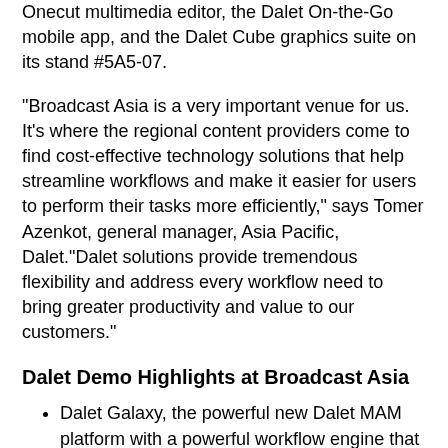Onecut multimedia editor, the Dalet On-the-Go mobile app, and the Dalet Cube graphics suite on its stand #5A5-07.
“Broadcast Asia is a very important venue for us. It's where the regional content providers come to find cost-effective technology solutions that help streamline workflows and make it easier for users to perform their tasks more efficiently,” says Tomer Azenkot, general manager, Asia Pacific, Dalet.“Dalet solutions provide tremendous flexibility and address every workflow need to bring greater productivity and value to our customers.”
Dalet Demo Highlights at Broadcast Asia
Dalet Galaxy, the powerful new Dalet MAM platform with a powerful workflow engine that forms the core of Dalet’s enterprise-level solutions.
Dalet Media Life is designed for program preparation and archiving. It includes tools for mass-ingest, quality